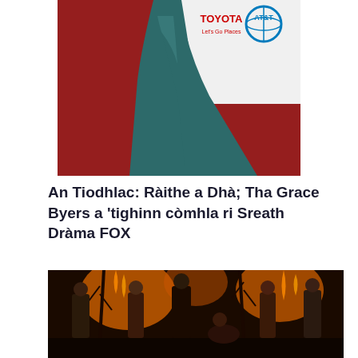[Figure (photo): Person in teal/dark green gown on red carpet with Toyota and AT&T logos visible in background]
An Tiodhlac: Ràithe a Dhà; Tha Grace Byers a 'tighinn còmhla ri Sreath Dràma FOX
[Figure (photo): Promotional photo of cast members from a FOX drama series, posing dramatically in a dark burning forest setting with fire in background]